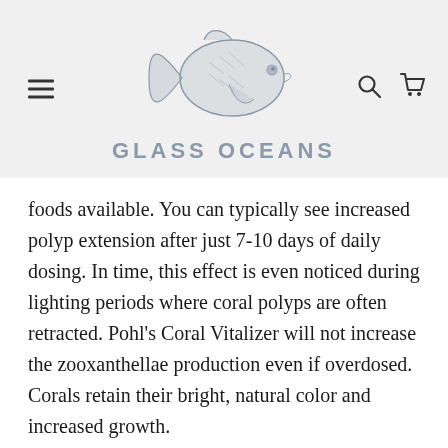GLASS OCEANS
foods available. You can typically see increased polyp extension after just 7-10 days of daily dosing. In time, this effect is even noticed during lighting periods where coral polyps are often retracted. Pohl’s Coral Vitalizer will not increase the zooxanthellae production even if overdosed. Corals retain their bright, natural color and increased growth.
After opening the bottle should be stored in a refrigerator and has a shelf live of 12 months. We recommend daily dosing (during the dark period